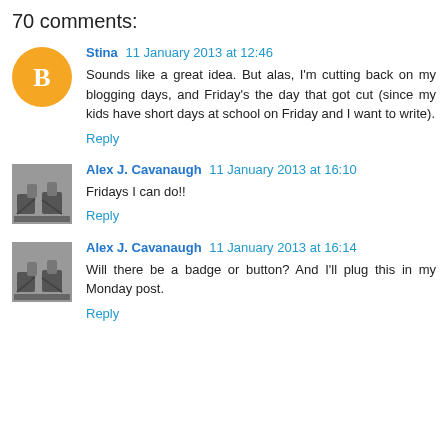70 comments:
Stina 11 January 2013 at 12:46
Sounds like a great idea. But alas, I'm cutting back on my blogging days, and Friday's the day that got cut (since my kids have short days at school on Friday and I want to write).
Reply
Alex J. Cavanaugh 11 January 2013 at 16:10
Fridays I can do!!
Reply
Alex J. Cavanaugh 11 January 2013 at 16:14
Will there be a badge or button? And I'll plug this in my Monday post.
Reply